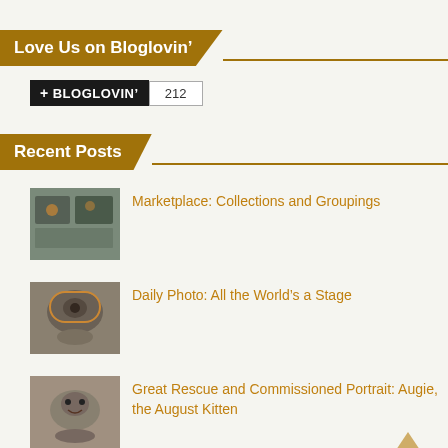Love Us on Bloglovin’
[Figure (other): Bloglovin follow button with count 212]
Recent Posts
Marketplace: Collections and Groupings
Daily Photo: All the World’s a Stage
Great Rescue and Commissioned Portrait: Augie, the August Kitten